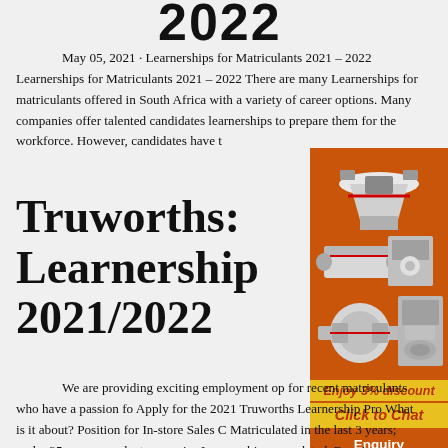2022
May 05, 2021 · Learnerships for Matriculants 2021 – 2022 Learnerships for Matriculants 2021 – 2022 There are many Learnerships for matriculants offered in South Africa with a variety of career options. Many companies offer talented candidates learnerships to prepare them for the workforce. However, candidates have t
Truworths: Learnership 2021/2022
[Figure (illustration): Orange advertisement banner showing industrial mining/milling machines on an orange background with 'Enjoy 3% discount', 'Click to Chat', 'Enquiry', and 'limingjlmofen@sina.com' text]
We are providing exciting employment op for recent matriculants who have a passion fo Apply for the 2021 Truworths Learnership Pro What is it about? Position for In-store Sales C Matriculated in the last 3 years; under 35 yea no graduates or prior Learnerships completed. Requirement: Grade 12 Matric.